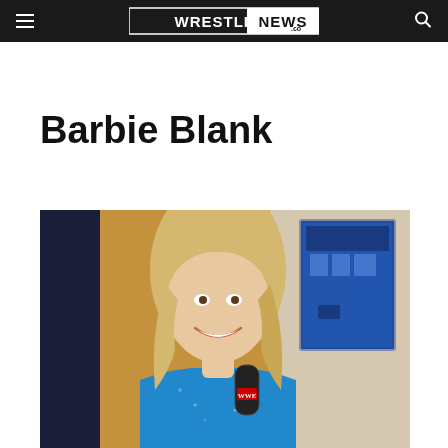Wrestling News
Barbie Blank
[Figure (photo): A smiling blonde woman in a blue sequin outfit holding a WWE microphone, standing backstage near a wall with a framed merchandise display poster]